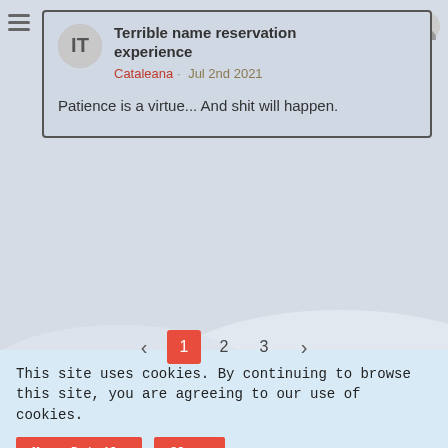Terrible name reservation experience
Cataleana · Jul 2nd 2021
Patience is a virtue... And shit will happen.
< 1 2 3 >
Legal information
This site uses cookies. By continuing to browse this site, you are agreeing to our use of cookies.
More Details
Close